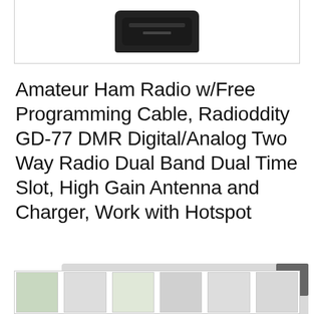[Figure (photo): Bottom portion of a black handheld amateur radio device (Radioddity GD-77) against white background, shown partially cropped]
Amateur Ham Radio w/Free Programming Cable, Radioddity GD-77 DMR Digital/Analog Two Way Radio Dual Band Dual Time Slot, High Gain Antenna and Charger, Work with Hotspot
#ad
As an Amazon Associate I earn from qualifying purchases. This website uses the only necessary cookies to ensure you get the best experience on our website. More information
[Figure (photo): Thumbnail images of ham radio products at bottom of page]